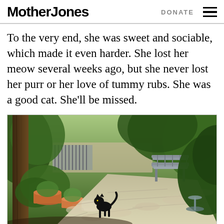Mother Jones | DONATE
To the very end, she was sweet and sociable, which made it even harder. She lost her meow several weeks ago, but she never lost her purr or her love of tummy rubs. She was a good cat. She’ll be missed.
[Figure (photo): A black cat walking along a stone-paved garden path, surrounded by lush green trees and shrubs, with terracotta pots on the left and a wooden bench visible in the background.]